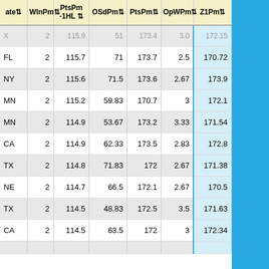| ate | WInPm | PtsPm-1HL | OSdPm | PtsPm | OpWPm | Z1Pm |
| --- | --- | --- | --- | --- | --- | --- |
| X | 2 | 115.9 | 51 | 173.4 | 3.0 | 172.15 |
| FL | 2 | 115.7 | 71 | 173.7 | 2.5 | 170.72 |
| NY | 2 | 115.6 | 71.5 | 173.6 | 2.67 | 173.9 |
| MN | 2 | 115.2 | 59.83 | 170.7 | 3 | 172.1 |
| MN | 2 | 114.9 | 53.67 | 173.2 | 3.33 | 171.54 |
| CA | 2 | 114.9 | 62.33 | 173.5 | 2.83 | 172.8 |
| TX | 2 | 114.8 | 71.83 | 172 | 2.67 | 171.38 |
| NE | 2 | 114.7 | 66.5 | 172.1 | 2.67 | 170.5 |
| TX | 2 | 114.5 | 48.83 | 172.5 | 3.5 | 171.63 |
| CA | 2 | 114.5 | 63.5 | 172 | 3 | 172.34 |